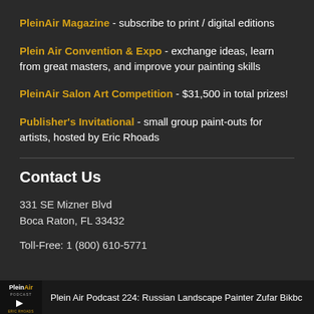PleinAir Magazine - subscribe to print / digital editions
Plein Air Convention & Expo - exchange ideas, learn from great masters, and improve your painting skills
PleinAir Salon Art Competition - $31,500 in total prizes!
Publisher's Invitational - small group paint-outs for artists, hosted by Eric Rhoads
Contact Us
331 SE Mizner Blvd
Boca Raton, FL 33432
Toll-Free: 1 (800) 610-5771
Plein Air Podcast 224: Russian Landscape Painter Zufar Bikbc